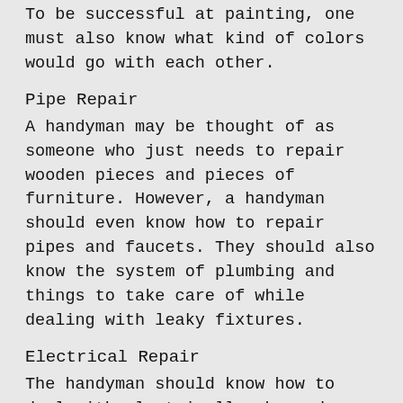To be successful at painting, one must also know what kind of colors would go with each other.
Pipe Repair
A handyman may be thought of as someone who just needs to repair wooden pieces and pieces of furniture. However, a handyman should even know how to repair pipes and faucets. They should also know the system of plumbing and things to take care of while dealing with leaky fixtures.
Electrical Repair
The handyman should know how to deal with electrically charged wires and repairing circuits too. It would be even better if they know how to deal with minute circuits along with repairing electrical appliances.
Final Words
Being a handyman is not the easiest job in the world. It takes a lot of skills to make it in this field. Check out